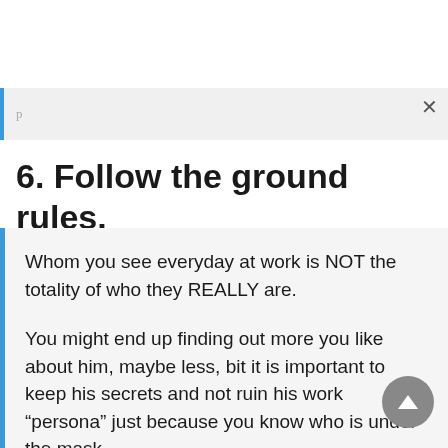6. Follow the ground rules.
Whom you see everyday at work is NOT the totality of who they REALLY are.
You might end up finding out more you like about him, maybe less, bit it is important to keep his secrets and not ruin his work “persona” just because you know who is under the mask.